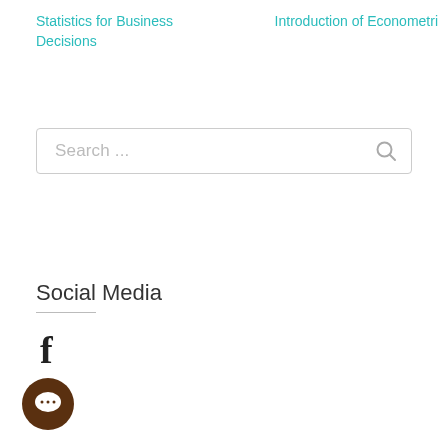Statistics for Business Decisions
Introduction of Econometri
[Figure (screenshot): Search bar with placeholder text 'Search ...' and a magnifying glass icon on the right]
Social Media
[Figure (illustration): Facebook 'f' icon in dark color]
[Figure (illustration): Chat bubble icon — dark brown circular button with a white chat bubble symbol]